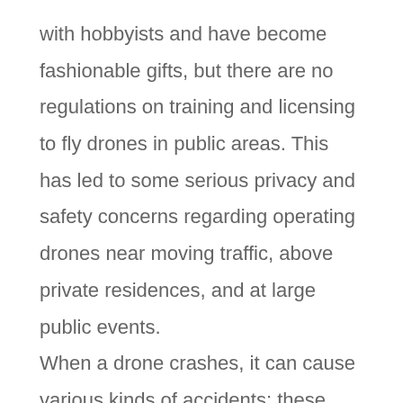with hobbyists and have become fashionable gifts, but there are no regulations on training and licensing to fly drones in public areas. This has led to some serious privacy and safety concerns regarding operating drones near moving traffic, above private residences, and at large public events.

When a drone crashes, it can cause various kinds of accidents; these include explosions, car accidents, damage, and injuries from flying debris,